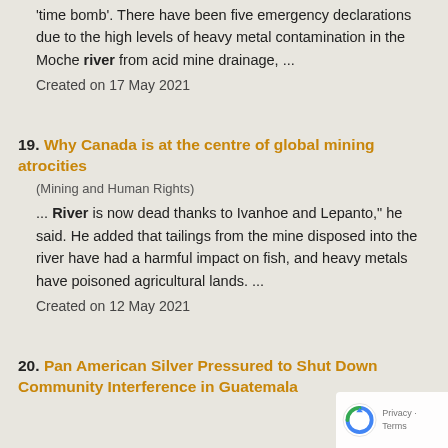‘time bomb’. There have been five emergency declarations due to the high levels of heavy metal contamination in the Moche river from acid mine drainage, ...
Created on 17 May 2021
19. Why Canada is at the centre of global mining atrocities
(Mining and Human Rights)
... River is now dead thanks to Ivanhoe and Lepanto,” he said. He added that tailings from the mine disposed into the river have had a harmful impact on fish, and heavy metals have poisoned agricultural lands. ...
Created on 12 May 2021
20. Pan American Silver Pressured to Shut Down Community Interference in Guatemala